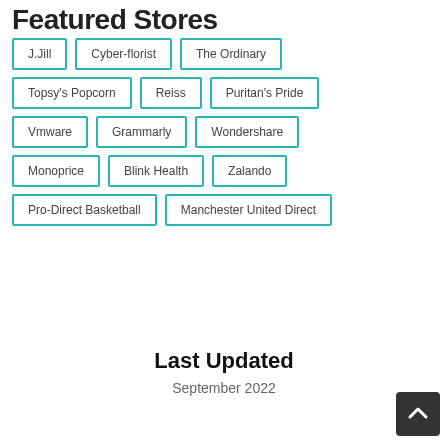Featured Stores
J.Jill
Cyber-florist
The Ordinary
Topsy's Popcorn
Reiss
Puritan's Pride
Vmware
Grammarly
Wondershare
Monoprice
Blink Health
Zalando
Pro-Direct Basketball
Manchester United Direct
Last Updated
September 2022